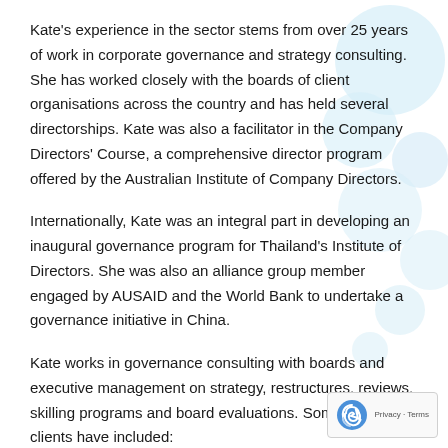Kate's experience in the sector stems from over 25 years of work in corporate governance and strategy consulting. She has worked closely with the boards of client organisations across the country and has held several directorships. Kate was also a facilitator in the Company Directors' Course, a comprehensive director program offered by the Australian Institute of Company Directors.
Internationally, Kate was an integral part in developing an inaugural governance program for Thailand's Institute of Directors. She was also an alliance group member engaged by AUSAID and the World Bank to undertake a governance initiative in China.
Kate works in governance consulting with boards and executive management on strategy, restructures, reviews, skilling programs and board evaluations. Some notable clients have included: